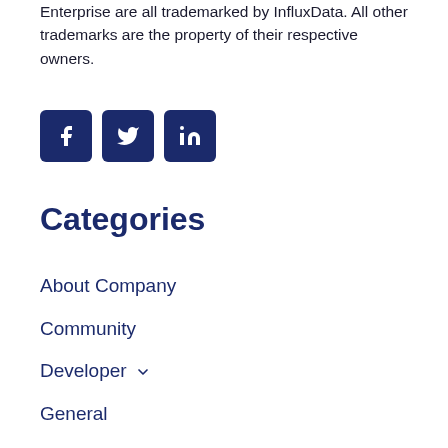Enterprise are all trademarked by InfluxData. All other trademarks are the property of their respective owners.
[Figure (illustration): Three social media icon buttons: Facebook (f), Twitter (bird), LinkedIn (in), all in dark navy blue square backgrounds with rounded corners]
Categories
About Company
Community
Developer
General
InfluxDB Cloud
InfluxDB Enterprise
Newsroom